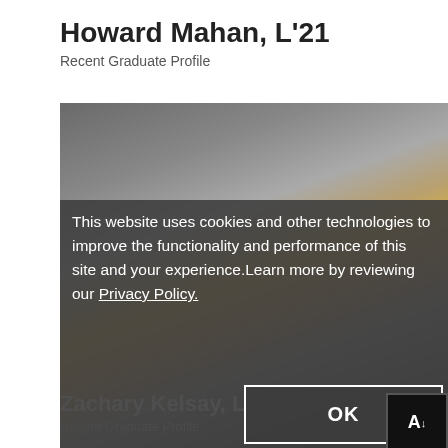Howard Mahan, L'21
Recent Graduate Profile
[Figure (photo): Portrait photo of Howard Mahan, partially obscured by cookie consent overlay. Shows top of head with brown/blonde hair against dark grey background.]
This website uses cookies and other technologies to improve the functionality and performance of this site and your experience.Learn more by reviewing our Privacy Policy.
OK
Zachary Kelsay, L'21
Recent Graduate Profile